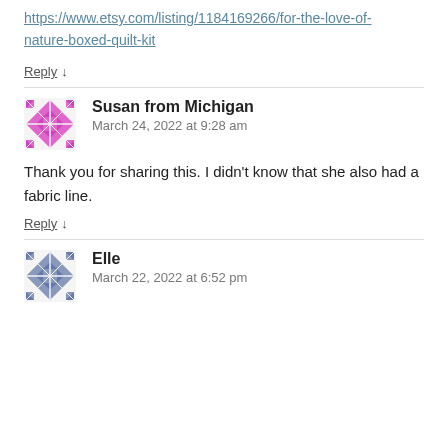https://www.etsy.com/listing/1184169266/for-the-love-of-nature-boxed-quilt-kit
Reply ↓
Susan from Michigan
March 24, 2022 at 9:28 am
Thank you for sharing this. I didn't know that she also had a fabric line.
Reply ↓
Elle
March 22, 2022 at 6:52 pm